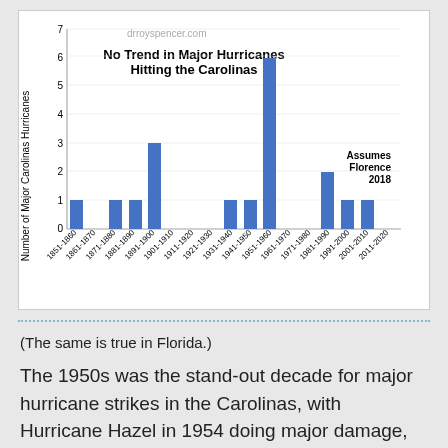[Figure (bar-chart): No Trend in Major Hurricanes Hitting the Carolinas]
(The same is true in Florida.)
The 1950s was the stand-out decade for major hurricane strikes in the Carolinas, with Hurricane Hazel in 1954 doing major damage, even as far north